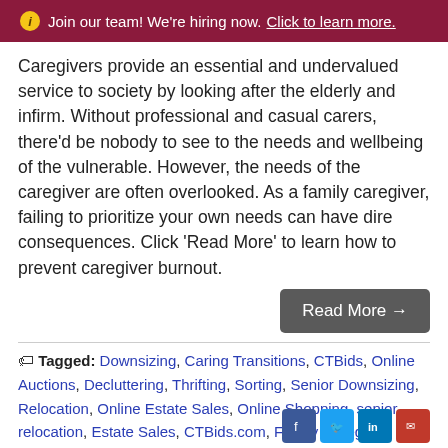Join our team! We're hiring now. Click to learn more.
Caregivers provide an essential and undervalued service to society by looking after the elderly and infirm. Without professional and casual carers, there'd be nobody to see to the needs and wellbeing of the vulnerable. However, the needs of the caregiver are often overlooked. As a family caregiver, failing to prioritize your own needs can have dire consequences. Click 'Read More' to learn how to prevent caregiver burnout.
Read More →
Tagged: Downsizing, Caring Transitions, CTBids, Online Auctions, Decluttering, Thrifting, Sorting, Senior Downsizing, Relocation, Online Estate Sales, Online Shopping, senior relocation, Estate Sales, CTBids.com, Family Caregiver, Caregivers, Baby Boomers